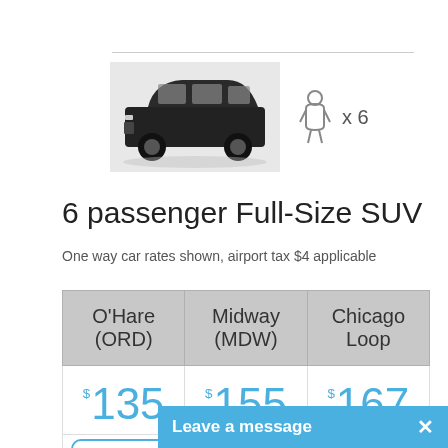[Figure (photo): Black full-size SUV (Cadillac Escalade style) with person icon showing x6 passenger capacity]
6 passenger Full-Size SUV
One way car rates shown, airport tax $4 applicable
| O'Hare (ORD) | Midway (MDW) | Chicago Loop |
| --- | --- | --- |
| $135 | $155 | $167 |
| Book now | Book Now | Book |
Leave a message